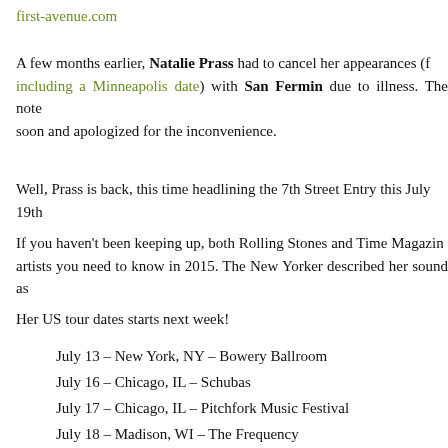first-avenue.com
A few months earlier, Natalie Prass had to cancel her appearances (including a Minneapolis date) with San Fermin due to illness. The note soon and apologized for the inconvenience.
Well, Prass is back, this time headlining the 7th Street Entry this July 19th
If you haven't been keeping up, both Rolling Stones and Time Magazine artists you need to know in 2015. The New Yorker described her sound as
Her US tour dates starts next week!
July 13 – New York, NY – Bowery Ballroom
July 16 – Chicago, IL – Schubas
July 17 – Chicago, IL – Pitchfork Music Festival
July 18 – Madison, WI – The Frequency
July 19 – Minneapolis, MN – 7th St. Entry
July 21 – Iowa City, IA – The Mill
July 22 – Lincoln, NE – Vega
July 24 – Milwaukee, WI – Rhythm Lab Fest